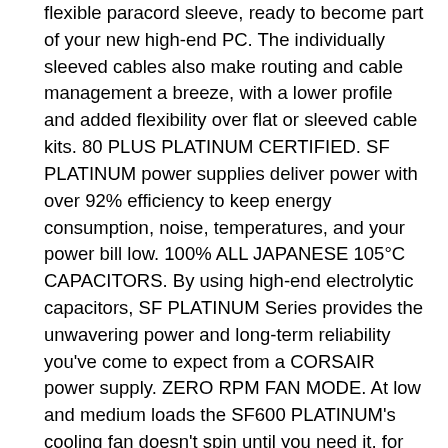flexible paracord sleeve, ready to become part of your new high-end PC. The individually sleeved cables also make routing and cable management a breeze, with a lower profile and added flexibility over flat or sleeved cable kits. 80 PLUS PLATINUM CERTIFIED. SF PLATINUM power supplies deliver power with over 92% efficiency to keep energy consumption, noise, temperatures, and your power bill low. 100% ALL JAPANESE 105°C CAPACITORS. By using high-end electrolytic capacitors, SF PLATINUM Series provides the unwavering power and long-term reliability you've come to expect from a CORSAIR power supply. ZERO RPM FAN MODE. At low and medium loads the SF600 PLATINUM's cooling fan doesn't spin until you need it, for near-silent operation. The SF PLATINUM Series upgrades the SFX-standard 80mm fan to 92mm, reducing noise and improving performance at demanding loads. SF PLATINUM Series power supplies are built around an innovative new internal design which swaps wires for soldered PCBs, delivering superb performance, incredibly stable voltages and ultra-low ripple and electrical noise. SF PLATINUM Series power supplies include an SFX-to-ATX power supply adapter bracket that allows installation into any ATX compatible case. The new bracket offsets the mounting location, allowing for more space inside any standard ATX chassis, so you can tuck your excess cables out of the airflow path. Number of +12V Rails. SF Series SF600...